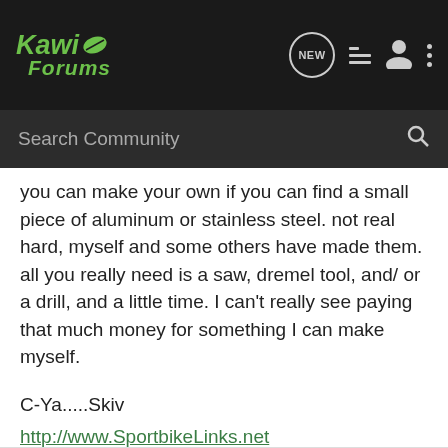[Figure (logo): Kawi Forums logo on dark header bar with navigation icons (NEW bubble, list icon, user icon, dots icon) and search bar below]
you can make your own if you can find a small piece of aluminum or stainless steel. not real hard, myself and some others have made them. all you really need is a saw, dremel tool, and/ or a drill, and a little time. I can't really see paying that much money for something I can make myself.
C-Ya.....Skiv
http://www.SportbikeLinks.net
'03 ZX6r
'91 ZX6d
http://www.geocities.com/skiv_here/6r.html
"Pain heals, chicks dig scars, but glory lasts forever"